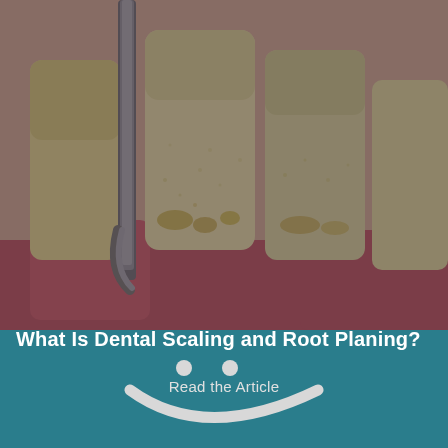[Figure (photo): Close-up dental illustration showing teeth with tartar/plaque buildup and a dental scaling tool (curette/scaler) being used near the gum line. The image has a dark overlay tint.]
What Is Dental Scaling and Root Planing?
Read the Article
[Figure (illustration): Teal/dark cyan background with a white clay or putty smiley face: two small round dots for eyes and a curved arc for the smile, centered on the lower section of the page.]